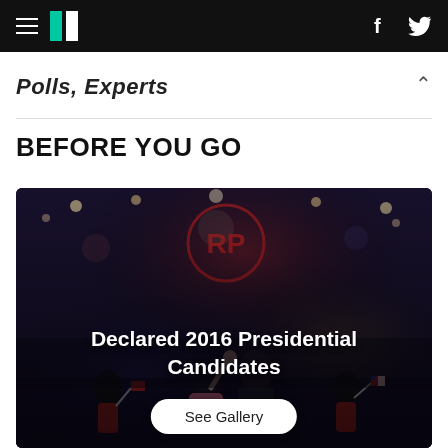HuffPost navigation bar with hamburger menu, logo, Facebook and Twitter icons
Polls, Experts
BEFORE YOU GO
[Figure (photo): Photo of 2016 presidential candidate Ted Cruz with family at a rally, children waving American flags, crowd in background with arena lights. Overlaid title text: 'Declared 2016 Presidential Candidates' and a 'See Gallery' button.]